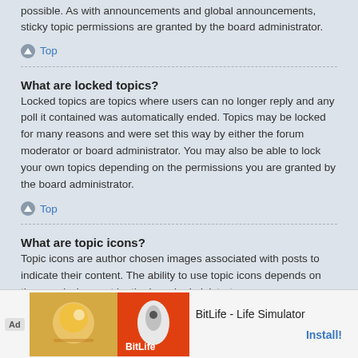possible. As with announcements and global announcements, sticky topic permissions are granted by the board administrator.
Top
What are locked topics?
Locked topics are topics where users can no longer reply and any poll it contained was automatically ended. Topics may be locked for many reasons and were set this way by either the forum moderator or board administrator. You may also be able to lock your own topics depending on the permissions you are granted by the board administrator.
Top
What are topic icons?
Topic icons are author chosen images associated with posts to indicate their content. The ability to use topic icons depends on the permissions set by the board administrator.
Top
User Levels and Groups
What are Administrators? over the entire boa including
[Figure (screenshot): Advertisement banner for BitLife - Life Simulator app with Install button]